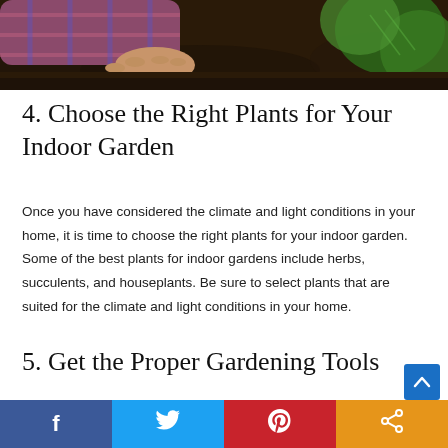[Figure (photo): Close-up photo of a person's hands in a plaid shirt planting or tending to a seedling in dark soil, with a green leafy plant visible on the right.]
4. Choose the Right Plants for Your Indoor Garden
Once you have considered the climate and light conditions in your home, it is time to choose the right plants for your indoor garden. Some of the best plants for indoor gardens include herbs, succulents, and houseplants. Be sure to select plants that are suited for the climate and light conditions in your home.
5. Get the Proper Gardening Tools
Another important step in designing a successful indoor gard…